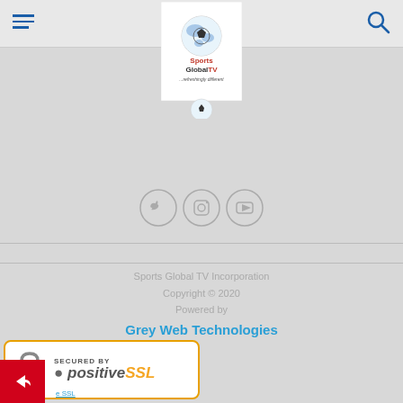Sports Global TV navigation header with hamburger menu and search icon
[Figure (logo): Sports Global TV logo - globe with soccer ball, text 'Sports Global TV ...refreshingly different']
[Figure (illustration): Three social media icon circles: Twitter, Instagram, YouTube]
Sports Global TV Incorporation
Copyright © 2020
Powered by
Grey Web Technologies
[Figure (logo): Secured by positiveSSL badge with padlock icon]